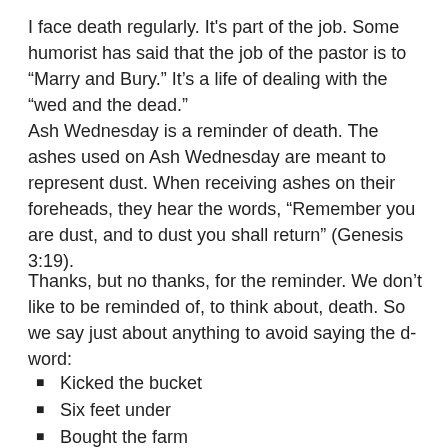I face death regularly.  It's part of the job.  Some humorist has said that the job of the pastor is to “Marry and Bury.”  It’s a life of dealing with the “wed and the dead.”
Ash Wednesday is a reminder of death. The ashes used on Ash Wednesday are meant to represent dust.  When receiving ashes on their foreheads, they hear the words, “Remember you are dust, and to dust you shall return” (Genesis 3:19).
Thanks, but no thanks, for the reminder.  We don’t like to be reminded of, to think about, death.  So we say just about anything to avoid saying the d-word:
Kicked the bucket
Six feet under
Bought the farm